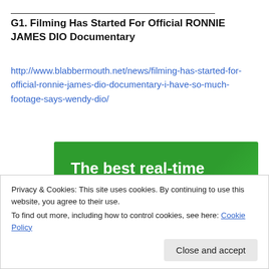G1. Filming Has Started For Official RONNIE JAMES DIO Documentary
http://www.blabbermouth.net/news/filming-has-started-for-official-ronnie-james-dio-documentary-i-have-so-much-footage-says-wendy-dio/
[Figure (other): Green advertisement banner reading 'The best real-time WordPress backup plugin']
Privacy & Cookies: This site uses cookies. By continuing to use this website, you agree to their use.
To find out more, including how to control cookies, see here: Cookie Policy
Close and accept